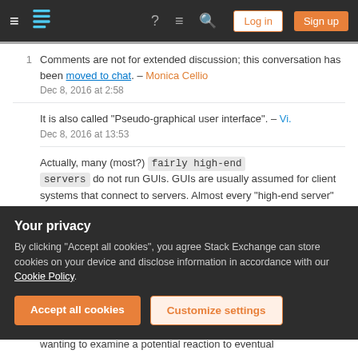Stack Exchange navigation bar with Log in and Sign up buttons
1 Comments are not for extended discussion; this conversation has been moved to chat. – Monica Cellio Dec 8, 2016 at 2:58
It is also called "Pseudo-graphical user interface". – Vi. Dec 8, 2016 at 13:53
Actually, many (most?) fairly high-end servers do not run GUIs. GUIs are usually assumed for client systems that connect to servers. Almost every "high-end server" I've worked on in the past 40+ years was minus a GUI. (Note, though, that functions such as X server/X windows or Java RAWT, etc. are often
Your privacy
By clicking "Accept all cookies", you agree Stack Exchange can store cookies on your device and disclose information in accordance with our Cookie Policy.
wanting to examine a potential reaction to eventual